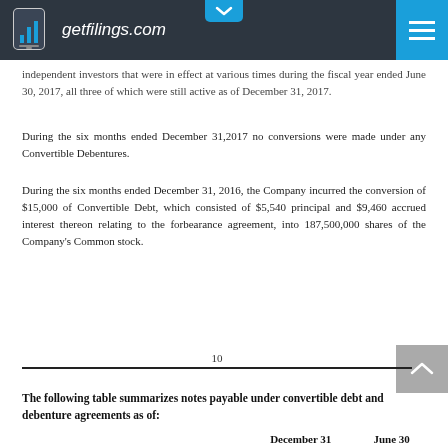getfilings.com
independent investors that were in effect at various times during the fiscal year ended June 30, 2017, all three of which were still active as of December 31, 2017.
During the six months ended December 31,2017 no conversions were made under any Convertible Debentures.
During the six months ended December 31, 2016, the Company incurred the conversion of $15,000 of Convertible Debt, which consisted of $5,540 principal and $9,460 accrued interest thereon relating to the forbearance agreement, into 187,500,000 shares of the Company's Common stock.
10
The following table summarizes notes payable under convertible debt and debenture agreements as of:
December 31     June 30